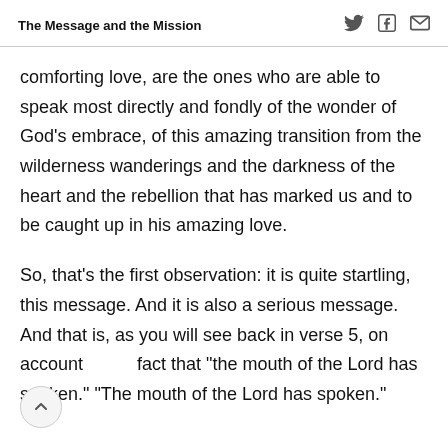The Message and the Mission
comforting love, are the ones who are able to speak most directly and fondly of the wonder of God’s embrace, of this amazing transition from the wilderness wanderings and the darkness of the heart and the rebellion that has marked us and to be caught up in his amazing love.
So, that’s the first observation: it is quite startling, this message. And it is also a serious message. And that is, as you will see back in verse 5, on account of the fact that “the mouth of the Lord has spoken.” “The mouth of the Lord has spoken.”